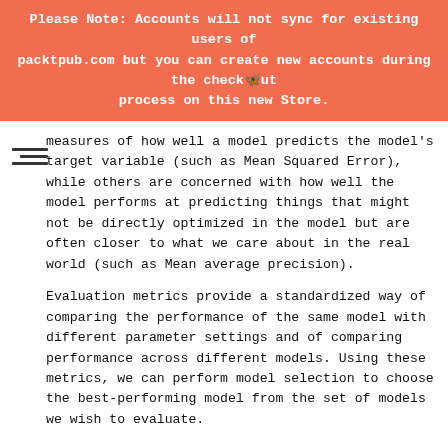Please Note: Accounts will not sync for existing users of packtpub.com but you can create new accounts during the checkout process on this new Store.
measures of how well a model predicts the model's target variable (such as Mean Squared Error), while others are concerned with how well the model performs at predicting things that might not be directly optimized in the model but are often closer to what we care about in the real world (such as Mean average precision).
Evaluation metrics provide a standardized way of comparing the performance of the same model with different parameter settings and of comparing performance across different models. Using these metrics, we can perform model selection to choose the best-performing model from the set of models we wish to evaluate.
Here, we will show you how to calculate two common evaluation metrics used in recommender systems and collaborative filtering models: Mean Squared Error and Mean average precision at K.